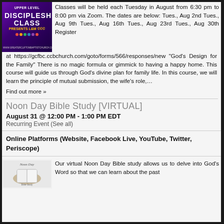[Figure (illustration): Discipleship class promotional image with purple background and event text]
Classes will be held each Tuesday in August from 6:30 pm to 8:00 pm via Zoom. The dates are below: Tues., Aug 2nd Tues., Aug 9th Tues., Aug 16th Tues., Aug 23rd Tues., Aug 30th Register at https://gcfbc.ccbchurch.com/goto/forms/566/responses/new "God's Design for the Family" There is no magic formula or gimmick to having a happy home. This course will guide us through God's divine plan for family life. In this course, we will learn the principle of mutual submission, the wife's role,…
Find out more »
Noon Day Bible Study [VIRTUAL]
August 31 @ 12:00 PM - 1:00 PM EDT
Recurring Event (See all)
Online Platforms (Website, Facebook Live, YouTube, Twitter, Periscope)
[Figure (logo): Noon Day Bible Study logo with hand holding book on light background]
Our virtual Noon Day Bible study allows us to delve into God's Word so that we can learn about the past